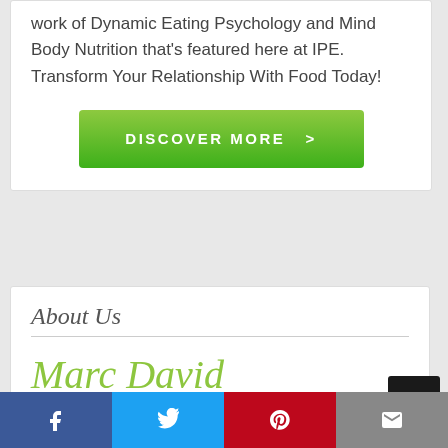work of Dynamic Eating Psychology and Mind Body Nutrition that's featured here at IPE. Transform Your Relationship With Food Today!
[Figure (other): Green gradient 'DISCOVER MORE >' call-to-action button]
About Us
Marc David
FOUNDER
[Figure (other): Social share bar with Facebook, Twitter, Pinterest, and email buttons at the bottom of the page]